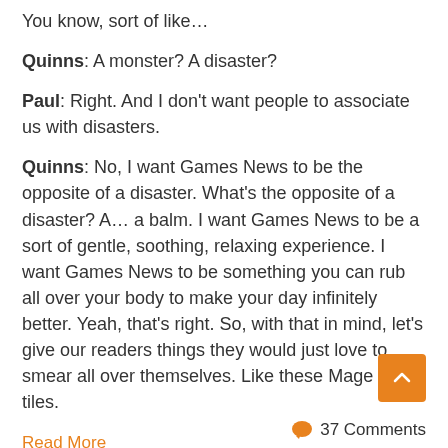You know, sort of like…
Quinns: A monster? A disaster?
Paul: Right. And I don't want people to associate us with disasters.
Quinns: No, I want Games News to be the opposite of a disaster. What's the opposite of a disaster? A… a balm. I want Games News to be a sort of gentle, soothing, relaxing experience. I want Games News to be something you can rub all over your body to make your day infinitely better. Yeah, that's right. So, with that in mind, let's give our readers things they would just love to smear all over themselves. Like these Mage Wars tiles.
Read More
37 Comments